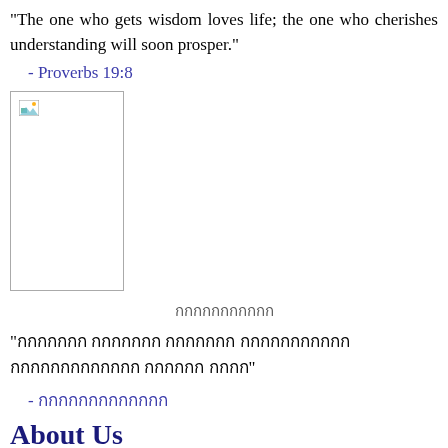"The one who gets wisdom loves life; the one who cherishes understanding will soon prosper."
- Proverbs 19:8
[Figure (photo): Broken/unloaded image placeholder with small icon in top-left corner]
กกกกกกกกกกก
"กกกกกกก กกกกกกก กกกกกกก กกกกกกกกกกก กกกกกกกกกกกกก กกกกกก กกกก"
- กกกกกกกกกกกกก
About Us